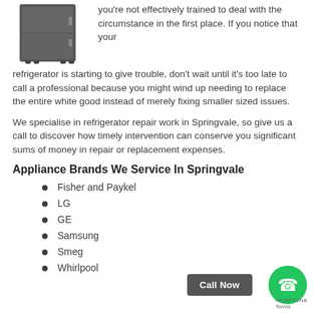[Figure (photo): Dark grey refrigerator appliance shown from front-left angle]
you're not effectively trained to deal with the circumstance in the first place. If you notice that your refrigerator is starting to give trouble, don't wait until it's too late to call a professional because you might wind up needing to replace the entire white good instead of merely fixing smaller sized issues.
We specialise in refrigerator repair work in Springvale, so give us a call to discover how timely intervention can conserve you significant sums of money in repair or replacement expenses.
Appliance Brands We Service In Springvale
Fisher and Paykel
LG
GE
Samsung
Smeg
Whirlpool